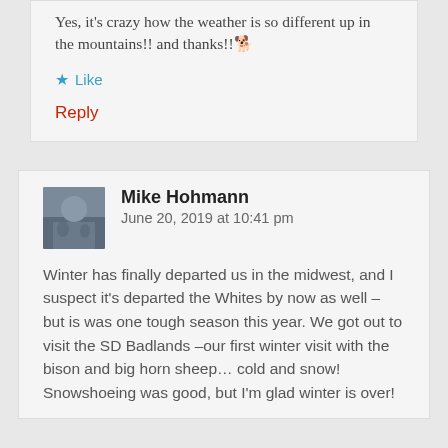Yes, it's crazy how the weather is so different up in the mountains!! and thanks!! 🐕
★ Like
Reply
Mike Hohmann   June 20, 2019 at 10:41 pm
Winter has finally departed us in the midwest, and I suspect it's departed the Whites by now as well – but is was one tough season this year. We got out to visit the SD Badlands –our first winter visit with the bison and big horn sheep… cold and snow! Snowshoeing was good, but I'm glad winter is over!